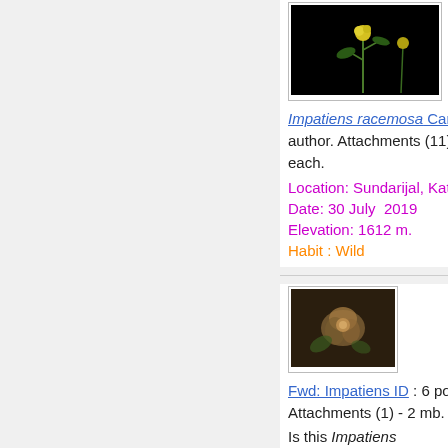[Figure (photo): Thumbnail photo of Impatiens racemosa plant against black background showing yellow flower]
Impatiens racemosa Candolle : 1 post by 1 author. Attachments (11)- around 500 kb each.
Location: Sundarijal, Kathmandu
Date: 30 July  2019
Elevation: 1612 m.
Habit : Wild
[Figure (photo): Thumbnail close-up photo of Impatiens flower]
Fwd: Impatiens ID : 6 posts by 4 authors. Attachments (1) - 2 mb.
Is this Impatiens